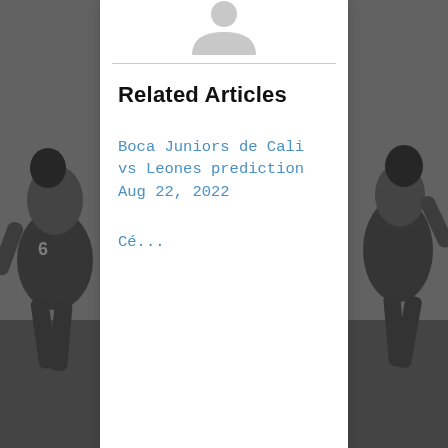[Figure (photo): Black and white photo of American football players on a field, visible on left and right edges of the page behind a white center card.]
[Figure (illustration): Partial avatar/person silhouette icon at the top center of the white card.]
Related Articles
Boca Juniors de Cali vs Leones prediction Aug 22, 2022